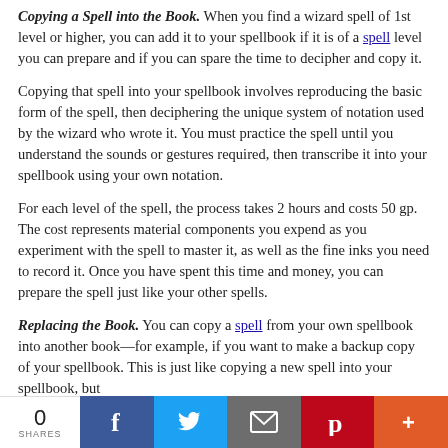Copying a Spell into the Book. When you find a wizard spell of 1st level or higher, you can add it to your spellbook if it is of a spell level you can prepare and if you can spare the time to decipher and copy it.
Copying that spell into your spellbook involves reproducing the basic form of the spell, then deciphering the unique system of notation used by the wizard who wrote it. You must practice the spell until you understand the sounds or gestures required, then transcribe it into your spellbook using your own notation.
For each level of the spell, the process takes 2 hours and costs 50 gp. The cost represents material components you expend as you experiment with the spell to master it, as well as the fine inks you need to record it. Once you have spent this time and money, you can prepare the spell just like your other spells.
Replacing the Book. You can copy a spell from your own spellbook into another book—for example, if you want to make a backup copy of your spellbook. This is just like copying a new spell into your spellbook, but
0 SHARES | Facebook | Twitter | Email | Pinterest | More